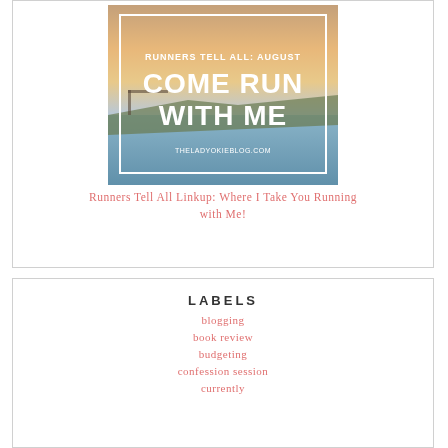[Figure (photo): Blog graphic showing a coastal sunset photo with white border overlay text reading 'RUNNERS TELL ALL: AUGUST COME RUN WITH ME THELADYOKIEBLOG.COM']
Runners Tell All Linkup: Where I Take You Running with Me!
LABELS
blogging
book review
budgeting
confession session
currently